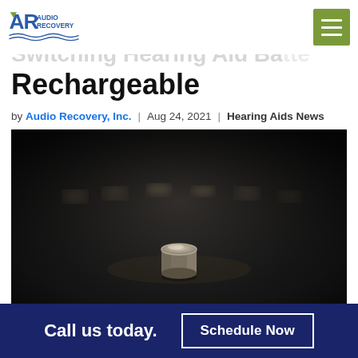Audio Recovery logo and navigation
Switching Hearing Aid Batteries to Rechargeable
by Audio Recovery, Inc. | Aug 24, 2021 | Hearing Aids News
[Figure (photo): Close-up photograph of small round hearing aid batteries on a dark reflective surface, with one battery in focus in the foreground and several blurred in the background.]
Call us today. Schedule Now